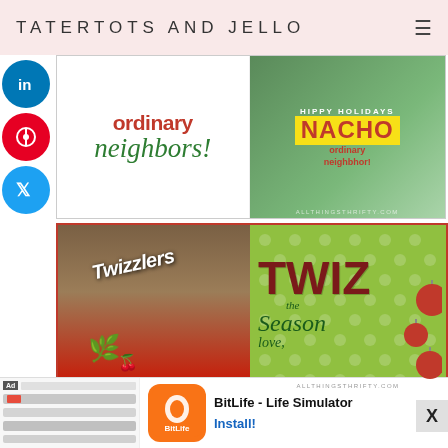TATERTOTS AND JELLO
[Figure (photo): Two-panel image: left panel shows text 'ordinary neighbors!' in red and green script on white background; right panel shows Christmas gift with NACHO text on jar with holly decoration and watermark allthingsthrifty.com]
[Figure (photo): Two-panel image: left panel shows Twizzlers candy wrapped in burlap with holly decoration; right panel shows green polka-dot background with red text TWIZ and green script 'the Season love.' with red ornament balls and watermark allthingsthrifty.com]
Notebooks from TJMaxx are always my favorite, and
[Figure (screenshot): Advertisement banner for BitLife - Life Simulator app with orange BitLife logo, Install button, and Ad badge. Shows mobile app screenshot thumbnails on left.]